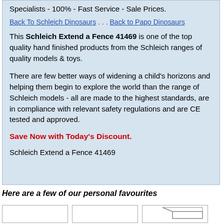Specialists - 100% - Fast Service - Sale Prices.
Back To Schleich Dinosaurs . . . Back to Papo Dinosaurs
This Schleich Extend a Fence 41469 is one of the top quality hand finished products from the Schleich ranges of quality models & toys.
There are few better ways of widening a child's horizons and helping them begin to explore the world than the range of Schleich models - all are made to the highest standards, are in compliance with relevant safety regulations and are CE tested and approved.
Save Now with Today's Discount.
Schleich Extend a Fence 41469
Here are a few of our personal favourites
[Figure (photo): Three thumbnail image boxes, the rightmost partially showing a fence/product image]